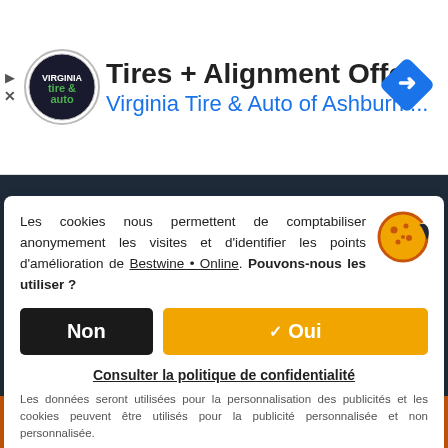[Figure (screenshot): Advertisement banner for Virginia Tire & Auto of Ashburn with logo, title 'Tires + Alignment Offer', subtitle 'Virginia Tire & Auto of Ashburn ...', and a blue diamond arrow icon on the right.]
Les cookies nous permettent de comptabiliser anonymement les visites et d'identifier les points d'amélioration de Bestwine • Online. Pouvons-nous les utiliser ?
Non
✓ Oui
Consulter la politique de confidentialité
Les données seront utilisées pour la personnalisation des publicités et les cookies peuvent être utilisés pour la publicité personnalisée et non personnalisée.
Discover the Scotch Whiskies chosen by the
Voir La Carte Des Vins !